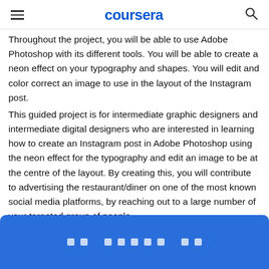coursera
Throughout the project, you will be able to use Adobe Photoshop with its different tools. You will be able to create a neon effect on your typography and shapes. You will edit and color correct an image to use in the layout of the Instagram post.
This guided project is for intermediate graphic designers and intermediate digital designers who are interested in learning how to create an Instagram post in Adobe Photoshop using the neon effect for the typography and edit an image to be at the centre of the layout. By creating this, you will contribute to advertising the restaurant/diner on one of the most known social media platforms, by reaching out to a large number of your targeted group of people.
[Figure (other): Blue button bar at the bottom with white dot/square icons arranged in a row]